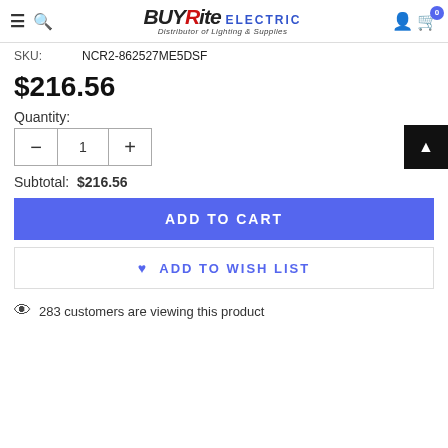BUYRite ELECTRIC — Distributor of Lighting & Supplies
SKU: NCR2-862527ME5DSF
$216.56
Quantity:
Subtotal: $216.56
ADD TO CART
ADD TO WISH LIST
283 customers are viewing this product